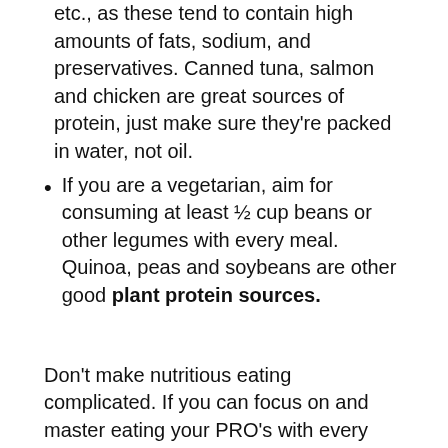etc., as these tend to contain high amounts of fats, sodium, and preservatives. Canned tuna, salmon and chicken are great sources of protein, just make sure they're packed in water, not oil.
If you are a vegetarian, aim for consuming at least ½ cup beans or other legumes with every meal. Quinoa, peas and soybeans are other good plant protein sources.
Don't make nutritious eating complicated. If you can focus on and master eating your PRO's with every meal, you will do remarkably well. And it's helpful to know why you should be eating plenty of produce and protein. So the next time you have that big, leafy steak salad you can be confident knowing it's going to work for your body. Eat your PRO's!